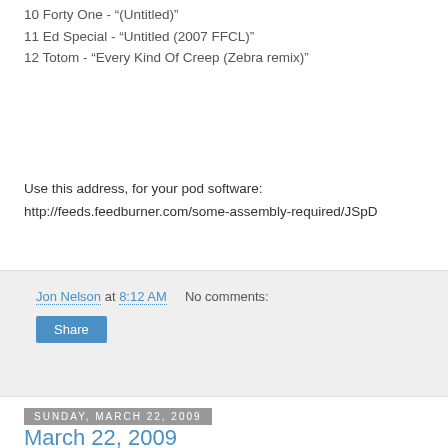10 Forty One - “(Untitled)”
11 Ed Special - “Untitled (2007 FFCL)”
12 Totom - “Every Kind Of Creep (Zebra remix)”
Use this address, for your pod software:
http://feeds.feedburner.com/some-assembly-required/JSpD
Jon Nelson at 8:12 AM   No comments:
Share
Sunday, March 22, 2009
March 22, 2009
March 22, 2009
Episode 140 features our 2006 interview with Girl Talk, who at the time had just released his 3rd album, "Night Ripper," on illegal art. Since then he's gotten all kinds of attention for both his work and his live shows, and has just put out a new